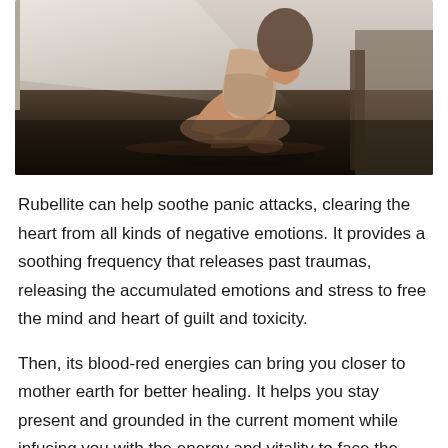[Figure (photo): A woman sitting on the floor with knees drawn up, leaning against furniture, in a bright room with window light. The lower portion shows a dark reflective floor.]
Rubellite can help soothe panic attacks, clearing the heart from all kinds of negative emotions. It provides a soothing frequency that releases past traumas, releasing the accumulated emotions and stress to free the mind and heart of guilt and toxicity.
Then, its blood-red energies can bring you closer to mother earth for better healing. It helps you stay present and grounded in the current moment while infusing you with the energy and vitality to face the world again. It should offer you the strength to relieve and overcome the behavioral patterns that are no longer benefiting you and causes self-sabotaging.